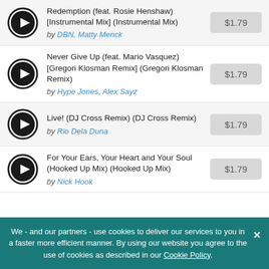Redemption (feat. Rosie Henshaw) [Instrumental Mix] (Instrumental Mix) by DBN, Matty Menck — $1.79
Never Give Up (feat. Mario Vasquez) [Gregori Klosman Remix] (Gregori Klosman Remix) by Hype Jones, Alex Sayz — $1.79
Live! (DJ Cross Remix) (DJ Cross Remix) by Rio Dela Duna — $1.79
For Your Ears, Your Heart and Your Soul (Hooked Up Mix) (Hooked Up Mix) by Nick Hook — $1.79
We - and our partners - use cookies to deliver our services to you in a faster more efficient manner. By using our website you agree to the use of cookies as described in our Cookie Policy.